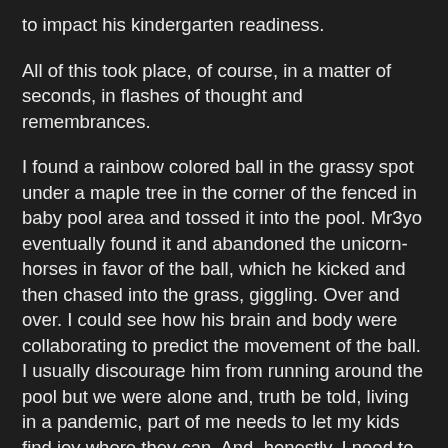to impact his kindergarten readiness.
All of this took place, of course, in a matter of seconds, in flashes of thought and remembrances.
I found a rainbow colored ball in the grassy spot under a maple tree in the corner of the fenced in baby pool area and tossed it into the pool. Mr3yo eventually found it and abandoned the unicorn-horses in favor of the ball, which he kicked and then chased into the grass, giggling. Over and over. I could see how his brain and body were collaborating to predict the movement of the ball. I usually discourage him from running around the pool but we were alone and, truth be told, living in a pandemic, part of me needs to let my kids find joy where they can. And, honestly, I need to too. And he kept laughing each time he kicked the ball away from him if and that is where the fragment ends.